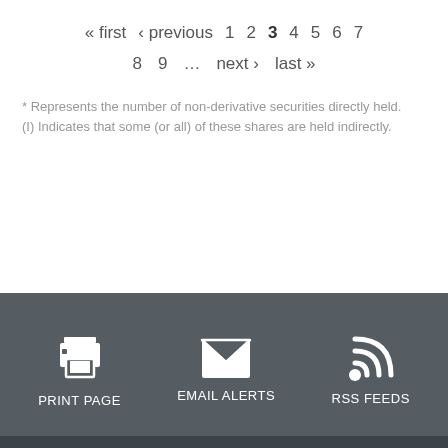« first  ‹ previous  1  2  3  4  5  6  7  8  9  …  next ›  last »
* Represents the number of non-derivative securities directly held.
(I) Indicates that some (or all) of these shares are held indirectly.
PRINT PAGE   EMAIL ALERTS   RSS FEEDS